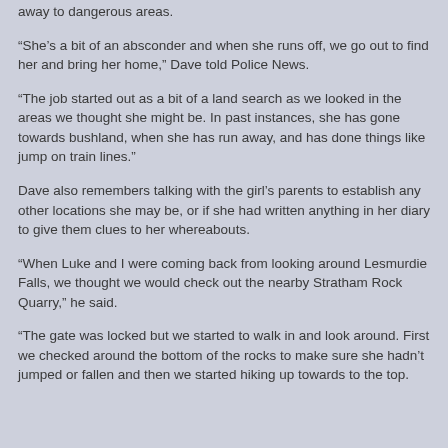away to dangerous areas.
“She’s a bit of an absconder and when she runs off, we go out to find her and bring her home,” Dave told Police News.
“The job started out as a bit of a land search as we looked in the areas we thought she might be. In past instances, she has gone towards bushland, when she has run away, and has done things like jump on train lines.”
Dave also remembers talking with the girl’s parents to establish any other locations she may be, or if she had written anything in her diary to give them clues to her whereabouts.
“When Luke and I were coming back from looking around Lesmurdie Falls, we thought we would check out the nearby Stratham Rock Quarry,” he said.
“The gate was locked but we started to walk in and look around. First we checked around the bottom of the rocks to make sure she hadn’t jumped or fallen and then we started hiking up towards to the top.